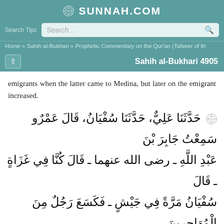SUNNAH.COM
Search Tips  Search ...
Home » Sahih al-Bukhari » Prophetic Commentary on the Qur'an (Tafseer of the...
Sahih al-Bukhari 4905
emigrants when the latter came to Medina, but later on the emigrant increased.
حَدَّثَنَا عَلِيٌّ، حَدَّثَنَا سُفْيَانُ، قَالَ عَمْرٌو سَمِعْتُ جَابِرَ بْنَ عَبْدِ اللَّهِ ـ رضى الله عنهما ـ قَالَ كُنَّا فِي غَزَاةٍ ـ قَالَ سُفْيَانُ مَرَّةً فِي جَيْشٍ ـ فَكَسَعَ رَجُلٌ مِنَ الْمُهَاجِرِينَ رَجُلاً مِنَ الأَنْصَارِ فَقَالَ الأَنْصَارِيُّ يَا لَلأَنْصَارِ. وَقَالَ الْمُهَاجِرِيُّ يَا لَلْمُهَاجِرِينَ. فَسَمِعَ ذَاكَ رَسُولُ اللَّهِ صلى